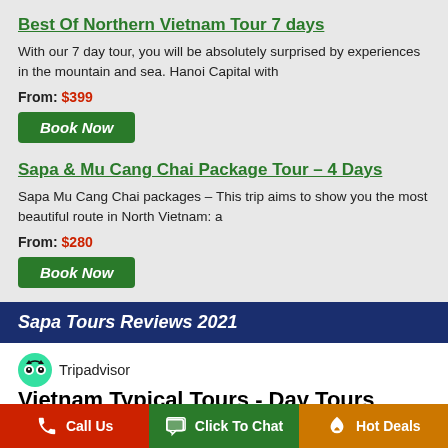Best Of Northern Vietnam Tour 7 days
With our 7 day tour, you will be absolutely surprised by experiences in the mountain and sea. Hanoi Capital with
From: $399
Book Now
Sapa & Mu Cang Chai Package Tour – 4 Days
Sapa Mu Cang Chai packages – This trip aims to show you the most beautiful route in North Vietnam: a
From: $280
Book Now
Sapa Tours Reviews 2021
[Figure (logo): Tripadvisor logo with owl icon and text]
Vietnam Typical Tours - Day Tours
Call Us | Click To Chat | Hot Deals